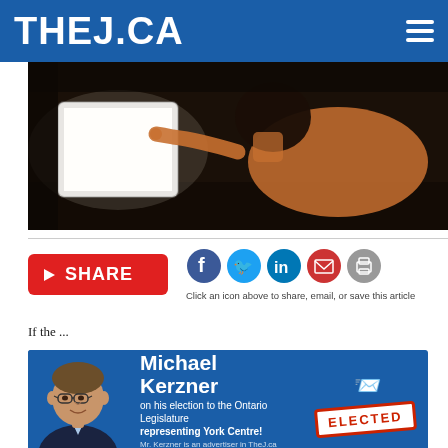THEJ.CA
[Figure (photo): Child lying down in dark room, pointing at a glowing tablet screen, viewed from the side in silhouette/low light.]
[Figure (infographic): Share bar with red SHARE button and social media icons: Facebook, Twitter, LinkedIn, Email, Print. Caption: Click an icon above to share, email, or save this article.]
flourishes and replicates. As someone whose job is
[Figure (infographic): Advertisement banner: Congratulations to Michael Kerzner on his election to the Ontario Legislature representing York Centre! With photo of Michael Kerzner and ELECTED stamp. Disclaimer: Mr. Kerzner is an advertiser in TheJ.ca and we will continue to follow his work for the community.]